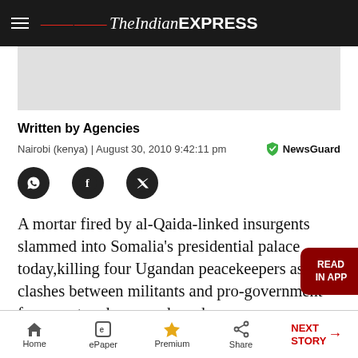The Indian EXPRESS
[Figure (other): Advertisement placeholder grey box]
Written by Agencies
Nairobi (kenya) | August 30, 2010 9:42:11 pm
[Figure (logo): NewsGuard shield badge]
[Figure (other): Social share icons: WhatsApp, Facebook, Twitter]
A mortar fired by al-Qaida-linked insurgents slammed into Somalia's presidential palace today,killing four Ugandan peacekeepers as clashes between militants and pro-government forces entered a second week.
The mortar,which also wounded eight people, did
Home | ePaper | Premium | Share | NEXT STORY